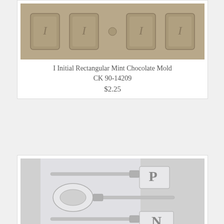[Figure (photo): I Initial Rectangular Mint Chocolate Mold product image showing gray rectangular chocolate mold with multiple letter I impressions]
I Initial Rectangular Mint Chocolate Mold CK 90-14209
$2.25
[Figure (photo): Initial P O N M Sucker Chocolate Mold product image showing silver mold with four lollipop/sucker shapes bearing letters P, O, N, M]
Initial P O N M Sucker Chocolate Mold Ck 90-14283
$2.25